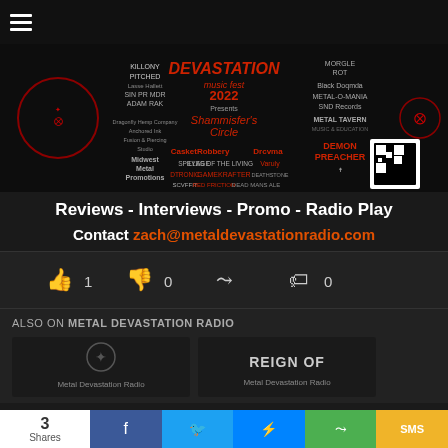[Figure (infographic): Devastation Music Fest 2022 promotional banner with band logos, sponsors, and event details on black background]
Reviews - Interviews - Promo - Radio Play
Contact zach@metaldevastationradio.com
[Figure (infographic): Reaction bar with thumbs up (1), thumbs down (0), share icon, and tag icon (0)]
ALSO ON METAL DEVASTATION RADIO
[Figure (photo): Two thumbnail images for related content articles]
[Figure (infographic): Share bar at bottom: count 3 Shares, Facebook, Twitter, Messenger, Share, SMS buttons]